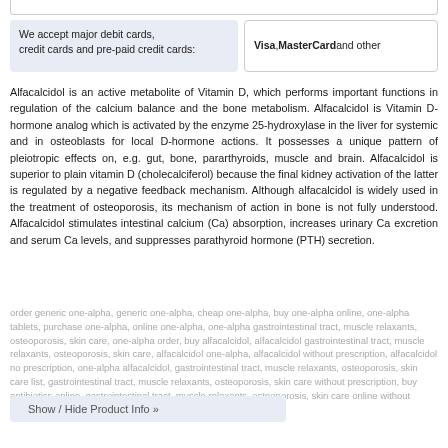We accept major debit cards, credit cards and pre-paid credit cards:
Visa, MasterCard and other
Alfacalcidol is an active metabolite of Vitamin D, which performs important functions in regulation of the calcium balance and the bone metabolism. Alfacalcidol is Vitamin D-hormone analog which is activated by the enzyme 25-hydroxylase in the liver for systemic and in osteoblasts for local D-hormone actions. It possesses a unique pattern of pleiotropic effects on, e.g. gut, bone, pararthyroids, muscle and brain. Alfacalcidol is superior to plain vitamin D (cholecalciferol) because the final kidney activation of the latter is regulated by a negative feedback mechanism. Although alfacalcidol is widely used in the treatment of osteoporosis, its mechanism of action in bone is not fully understood. Alfacalcidol stimulates intestinal calcium (Ca) absorption, increases urinary Ca excretion and serum Ca levels, and suppresses parathyroid hormone (PTH) secretion.
order generic one-alpha, generic one-alpha, cheap one-alpha, buy one-alpha online, one-alpha tablets, purchase one-alpha, online one-alpha, one-alpha gastrointestinal tract, muscle relaxants, osteoporosis, skin care, one-alpha order, buy alfacalcidol, alfacalcidol gastrointestinal tract, muscle relaxants, osteoporosis, skin care, alfacalcidol one-alpha, alfacalcidol without prescription, alfacalcidol no prescription, one-alpha alfacalcidol, gastrointestinal tract, muscle relaxants, osteoporosis, skin care list, gastrointestinal tract, muscle relaxants, osteoporosis, skin care without prescription, buy antibiotics online, gastrointestinal tract, muscle relaxants, osteoporosis, skin care online without prescription
Show / Hide Product Info »